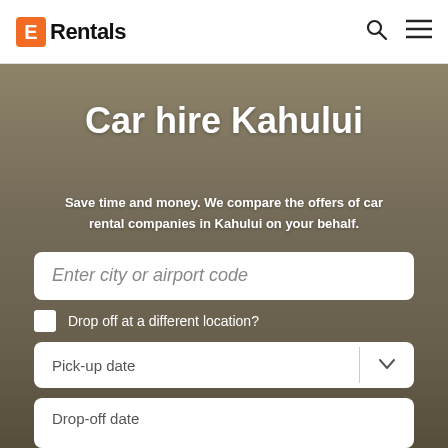ERentals
Car hire Kahului
Save time and money. We compare the offers of car rental companies in Kahului on your behalf.
Enter city or airport code
Drop off at a different location?
Pick-up date
Drop-off date